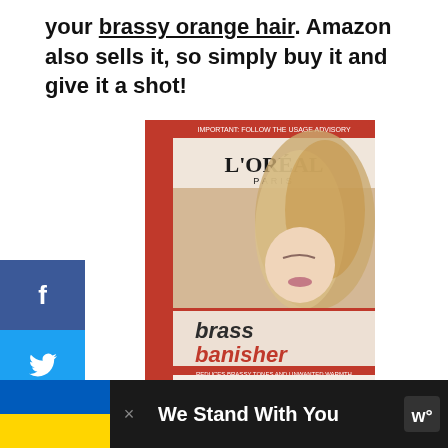your brassy orange hair. Amazon also sells it, so simply buy it and give it a shot!
[Figure (photo): L'Oreal Paris Colorist Secrets Brass Banisher Color Balancing Gloss Treatment product box featuring a blonde woman]
[Figure (infographic): Social media share buttons: Facebook (f), Twitter (bird), Pinterest (P) with count 35]
[Figure (infographic): Advertisement banner: Ukraine flag colors with text 'We Stand With You' on dark background]